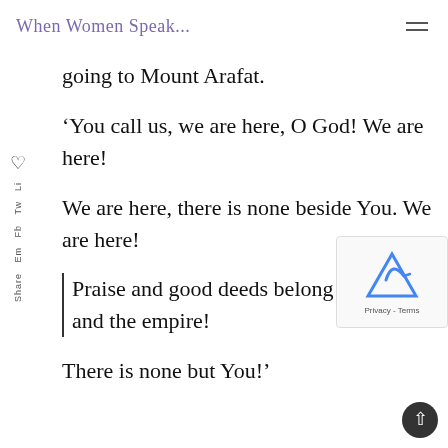When Women Speak...
going to Mount Arafat.
‘You call us, we are here, O God! We are here!
We are here, there is none beside You. We are here!
Praise and good deeds belong to you, and the empire!
There is none but You!’